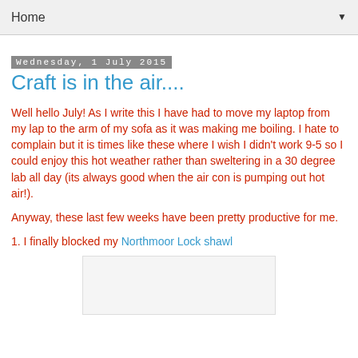Home ▼
Wednesday, 1 July 2015
Craft is in the air....
Well hello July! As I write this I have had to move my laptop from my lap to the arm of my sofa as it was making me boiling. I hate to complain but it is times like these where I wish I didn't work 9-5 so I could enjoy this hot weather rather than sweltering in a 30 degree lab all day (its always good when the air con is pumping out hot air!).
Anyway, these last few weeks have been pretty productive for me.
1. I finally blocked my Northmoor Lock shawl
[Figure (photo): Placeholder image area at bottom of page]